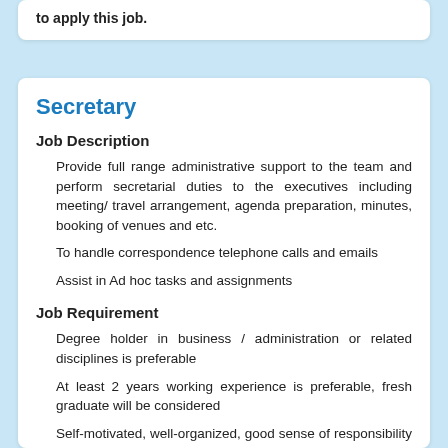to apply this job.
Secretary
Job Description
Provide full range administrative support to the team and perform secretarial duties to the executives including meeting/ travel arrangement, agenda preparation, minutes, booking of venues and etc.
To handle correspondence telephone calls and emails
Assist in Ad hoc tasks and assignments
Job Requirement
Degree holder in business / administration or related disciplines is preferable
At least 2 years working experience is preferable, fresh graduate will be considered
Self-motivated, well-organized, good sense of responsibility and good interpersonal and communication skills